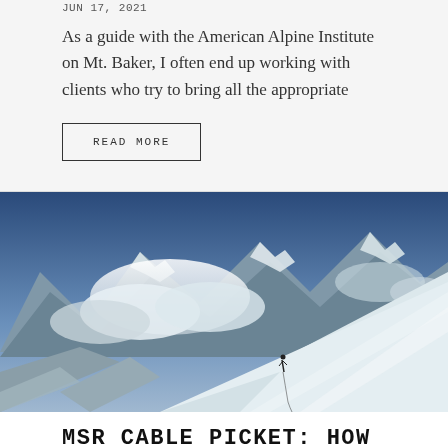JUN 17, 2021
As a guide with the American Alpine Institute on Mt. Baker, I often end up working with clients who try to bring all the appropriate
READ MORE
[Figure (photo): A mountaineer climbing a steep snow slope with dramatic mountain peaks and clouds in the background, black and white tones.]
MSR CABLE PICKET: HOW TO